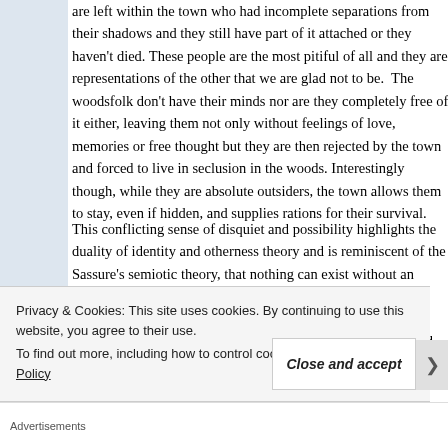are left within the town who had incomplete separations from their shadows and they still have part of it attached or they haven't died. These people are the most pitiful of all and they are representations of the other that we are glad not to be.  The woodsfolk don't have their minds nor are they completely free of it either, leaving them not only without feelings of love, memories or free thought but they are then rejected by the town and forced to live in seclusion in the woods. Interestingly though, while they are absolute outsiders, the town allows them to stay, even if hidden, and supplies rations for their survival.
This conflicting sense of disquiet and possibility highlights the duality of identity and otherness theory and is reminiscent of the Sassure's semiotic theory, that nothing can exist without an opposing meaning or representation (Berger, p.7). There are a number of representations of Sassure's theory throughout The End of the World including the importance placed on light and dark and the correlation of this with the conscious and unconscious mind
Privacy & Cookies: This site uses cookies. By continuing to use this website, you agree to their use.
To find out more, including how to control cookies, see here: Cookie Policy
Close and accept
Advertisements